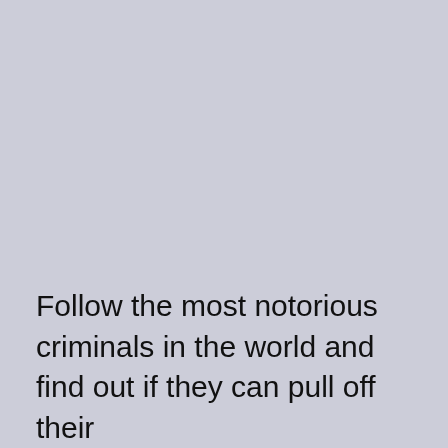Follow the most notorious criminals in the world and find out if they can pull off their